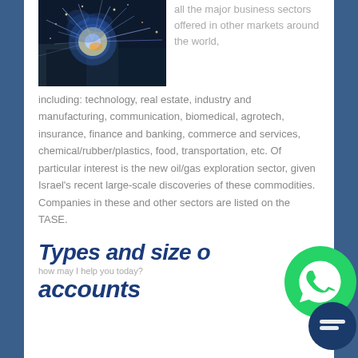[Figure (photo): Industrial welding scene with blue sparks and bright light, dark background]
all the major business sectors offered in other markets around the world, including: technology, real estate, industry and manufacturing, communication, biomedical, agrotech, insurance, finance and banking, commerce and services, chemical/rubber/plastics, food, transportation, etc. Of particular interest is the new oil/gas exploration sector, given Israel's recent large-scale discoveries of these commodities. Companies in these and other sectors are listed on the TASE.
Types and size of accounts